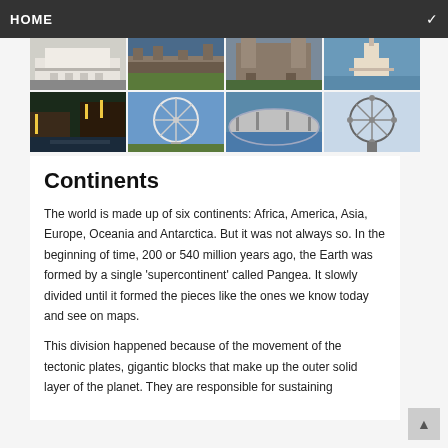HOME
[Figure (photo): Grid of travel/landmark photos showing historical buildings, city scenes, Ferris wheels, and waterways across two rows of four images each.]
Continents
The world is made up of six continents: Africa, America, Asia, Europe, Oceania and Antarctica. But it was not always so. In the beginning of time, 200 or 540 million years ago, the Earth was formed by a single 'supercontinent' called Pangea. It slowly divided until it formed the pieces like the ones we know today and see on maps.
This division happened because of the movement of the tectonic plates, gigantic blocks that make up the outer solid layer of the planet. They are responsible for sustaining